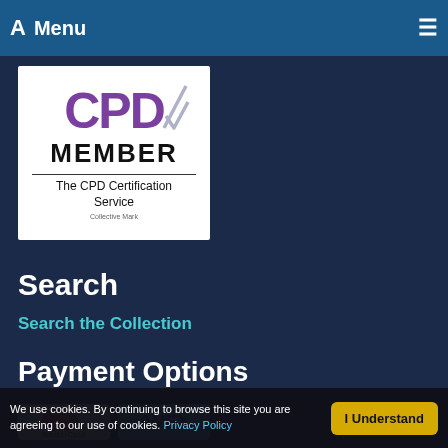A Menu ☰
[Figure (logo): CPD Member logo - The CPD Certification Service Collective Mark, purple letters CPD with checkmark, bold MEMBER text, and The CPD Certification Service text]
Search
Search the Collection
Payment Options
[Figure (logo): MasterCard logo - two overlapping red and orange circles with MasterCard text]
[Figure (logo): American Express AMEX logo - blue background with AMEX text]
We use cookies. By continuing to browse this site you are agreeing to our use of cookies. Privacy Policy  I Understand